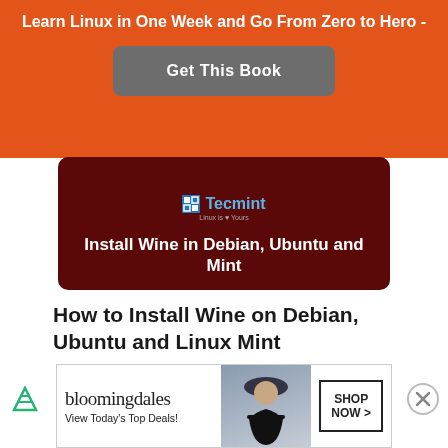Learn Linux in One Week and Go From Zero to Hero -
Get This Book
[Figure (illustration): Dark red card showing Wine logo (Tecmint branding) and text 'Install Wine in Debian, Ubuntu and Mint']
How to Install Wine on Debian, Ubuntu and Linux Mint
[Figure (illustration): Dark purple/navy card showing a Tux penguin with a police hat, a chalkboard style box with 'Linux !!!' text, and text 'Mount and']
[Figure (illustration): Bloomingdale's advertisement showing brand name, 'View Today's Top Deals!', a woman in a hat, and 'SHOP NOW >' button]